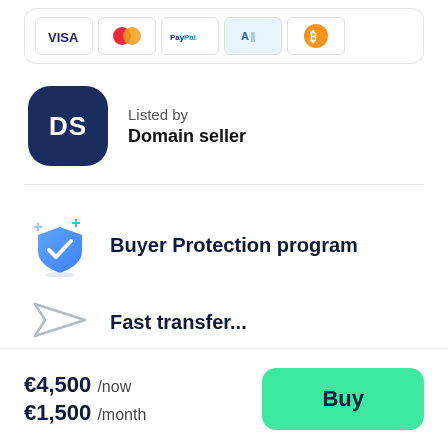[Figure (other): Payment method icons: Visa, Mastercard, PayPal, American Express, Bitcoin inside a rounded card]
Listed by
Domain seller
[Figure (other): Shield with checkmark icon for Buyer Protection program]
Buyer Protection program
[Figure (other): Paper plane / fast transfer icon]
Fast transfer...
€4,500 /now
€1,500 /month
Buy